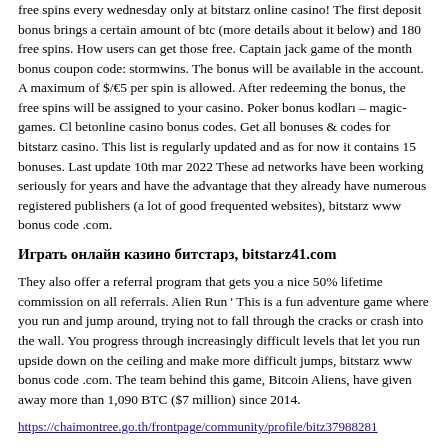free spins every wednesday only at bitstarz online casino! The first deposit bonus brings a certain amount of btc (more details about it below) and 180 free spins. How users can get those free. Captain jack game of the month bonus coupon code: stormwins. The bonus will be available in the account. A maximum of $/€5 per spin is allowed. After redeeming the bonus, the free spins will be assigned to your casino. Poker bonus kodları – magic-games. Cl betonline casino bonus codes. Get all bonuses & codes for bitstarz casino. This list is regularly updated and as for now it contains 15 bonuses. Last update 10th mar 2022 These ad networks have been working seriously for years and have the advantage that they already have numerous registered publishers (a lot of good frequented websites), bitstarz www bonus code .com.
Играть онлайн казино битстарз, bitstarz41.com
They also offer a referral program that gets you a nice 50% lifetime commission on all referrals. Alien Run ' This is a fun adventure game where you run and jump around, trying not to fall through the cracks or crash into the wall. You progress through increasingly difficult levels that let you run upside down on the ceiling and make more difficult jumps, bitstarz www bonus code .com. The team behind this game, Bitcoin Aliens, have given away more than 1,090 BTC ($7 million) since 2014.
https://chaimontree.go.th/frontpage/community/profile/bitz37988281